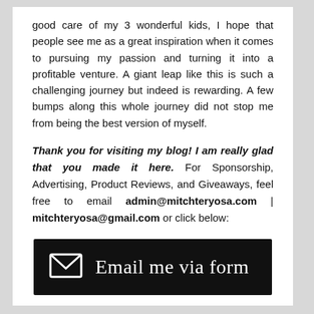good care of my 3 wonderful kids, I hope that people see me as a great inspiration when it comes to pursuing my passion and turning it into a profitable venture. A giant leap like this is such a challenging journey but indeed is rewarding. A few bumps along this whole journey did not stop me from being the best version of myself.
Thank you for visiting my blog! I am really glad that you made it here. For Sponsorship, Advertising, Product Reviews, and Giveaways, feel free to email admin@mitchteryosa.com | mitchteryosa@gmail.com or click below:
[Figure (other): Black button with white envelope icon and cursive text 'Email me via form']